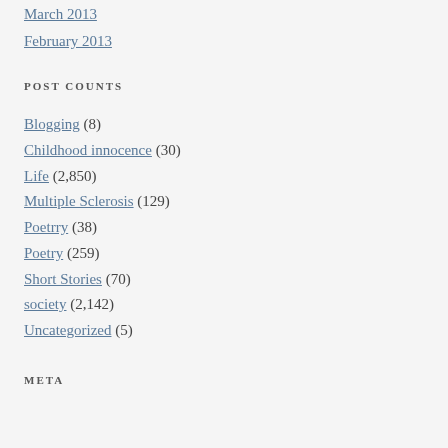March 2013
February 2013
POST COUNTS
Blogging (8)
Childhood innocence (30)
Life (2,850)
Multiple Sclerosis (129)
Poetrry (38)
Poetry (259)
Short Stories (70)
society (2,142)
Uncategorized (5)
META